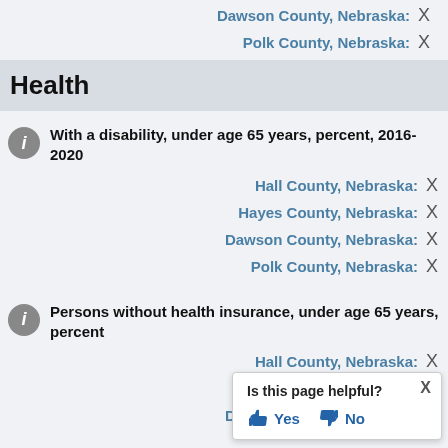Dawson County, Nebraska: X
Polk County, Nebraska: X
Health
With a disability, under age 65 years, percent, 2016-2020
Hall County, Nebraska: X
Hayes County, Nebraska: X
Dawson County, Nebraska: X
Polk County, Nebraska: X
Persons without health insurance, under age 65 years, percent
Hall County, Nebraska: X
Hayes County, Nebraska: X
Dawson County: X